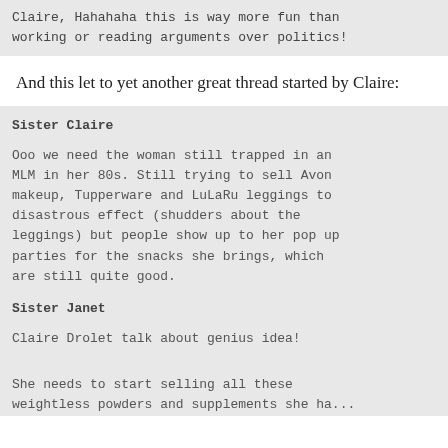Claire, Hahahaha this is way more fun than working or reading arguments over politics!
And this let to yet another great thread started by Claire:
Sister Claire

Ooo we need the woman still trapped in an MLM in her 80s. Still trying to sell Avon makeup, Tupperware and LuLaRu leggings to disastrous effect (shudders about the leggings) but people show up to her pop up parties for the snacks she brings, which are still quite good.

Sister Janet

Claire Drolet talk about genius idea!

She needs to start selling all these weightless powders and supplements she ha...